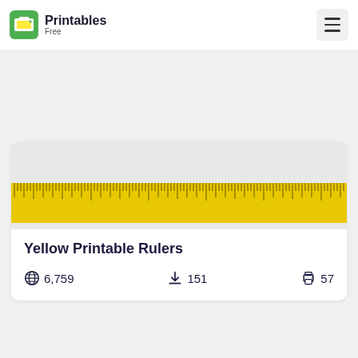Printables Free
[Figure (screenshot): Yellow printable ruler image showing yellow ruler with measurement tick marks]
Yellow Printable Rulers
6,759  151  57